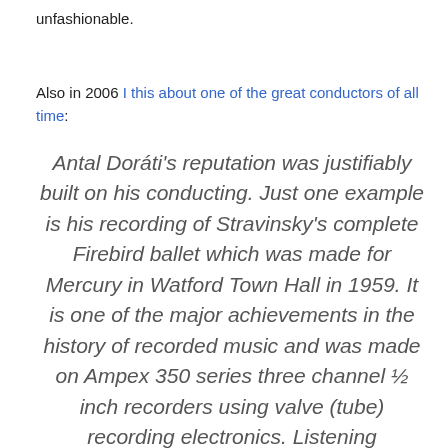unfashionable.
Also in 2006 I this about one of the great conductors of all time:
Antal Doráti's reputation was justifiably built on his conducting. Just one example is his recording of Stravinsky's complete Firebird ballet which was made for Mercury in Watford Town Hall in 1959. It is one of the major achievements in the history of recorded music and was made on Ampex 350 series three channel ½ inch recorders using valve (tube) recording electronics. Listening